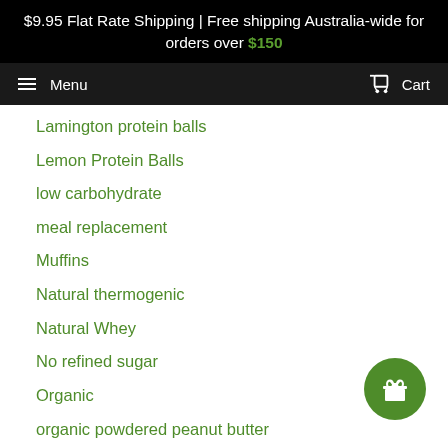$9.95 Flat Rate Shipping | Free shipping Australia-wide for orders over $150
Menu  Cart
Lamington protein balls
Lemon Protein Balls
low carbohydrate
meal replacement
Muffins
Natural thermogenic
Natural Whey
No refined sugar
Organic
organic powdered peanut butter
Organic Recipe
Organic Smoothie Bowl
Organic Snack
organic whey protein
Peanut Butter